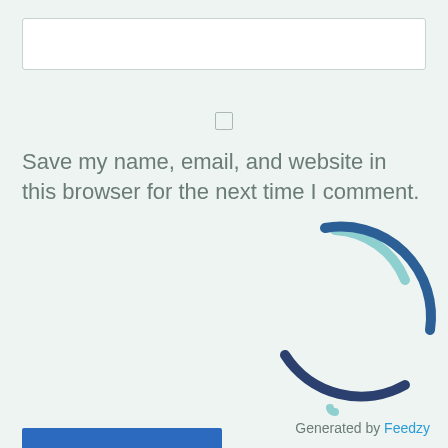[Figure (screenshot): Text input box (white, rounded border) at top of page]
[Figure (screenshot): Unchecked checkbox centered on page]
Save my name, email, and website in this browser for the next time I comment.
[Figure (other): Blue 'POST COMMENT' button with a loading spinner (two arc segments in light teal and dark blue) overlapping it]
Generated by Feedzy